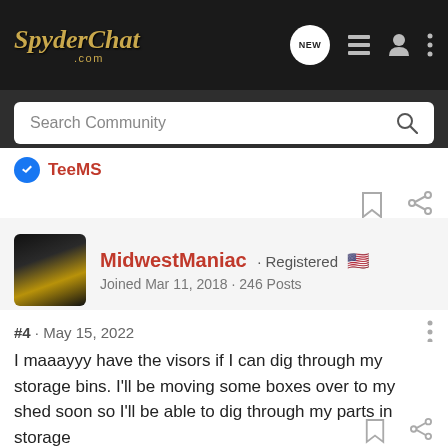SpyderChat.com
Search Community
TeeMS
MidwestManiac · Registered
Joined Mar 11, 2018 · 246 Posts
#4 · May 15, 2022
I maaayyy have the visors if I can dig through my storage bins. I'll be moving some boxes over to my shed soon so I'll be able to dig through my parts in storage